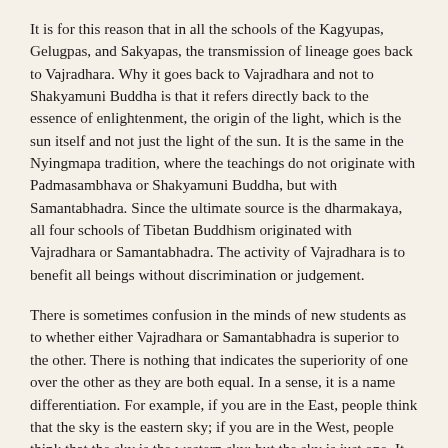It is for this reason that in all the schools of the Kagyupas, Gelugpas, and Sakyapas, the transmission of lineage goes back to Vajradhara. Why it goes back to Vajradhara and not to Shakyamuni Buddha is that it refers directly back to the essence of enlightenment, the origin of the light, which is the sun itself and not just the light of the sun. It is the same in the Nyingmapa tradition, where the teachings do not originate with Padmasambhava or Shakyamuni Buddha, but with Samantabhadra. Since the ultimate source is the dharmakaya, all four schools of Tibetan Buddhism originated with Vajradhara or Samantabhadra. The activity of Vajradhara is to benefit all beings without discrimination or judgement.
There is sometimes confusion in the minds of new students as to whether either Vajradhara or Samantabhadra is superior to the other. There is nothing that indicates the superiority of one over the other as they are both equal. In a sense, it is a name differentiation. For example, if you are in the East, people think that the sky is the eastern sky; if you are in the West, people think that the sky is the western sky; but the sky is just one. It is not as if the eastern sky is superior to the western sky or that the western sky is superior to the eastern sky, as there is no superiority inherent in the sky being either